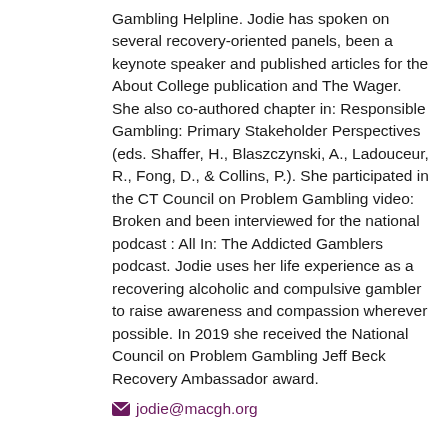Gambling Helpline. Jodie has spoken on several recovery-oriented panels, been a keynote speaker and published articles for the About College publication and The Wager. She also co-authored chapter in: Responsible Gambling: Primary Stakeholder Perspectives (eds. Shaffer, H., Blaszczynski, A., Ladouceur, R., Fong, D., & Collins, P.). She participated in the CT Council on Problem Gambling video: Broken and been interviewed for the national podcast : All In: The Addicted Gamblers podcast. Jodie uses her life experience as a recovering alcoholic and compulsive gambler to raise awareness and compassion wherever possible. In 2019 she received the National Council on Problem Gambling Jeff Beck Recovery Ambassador award.
jodie@macgh.org